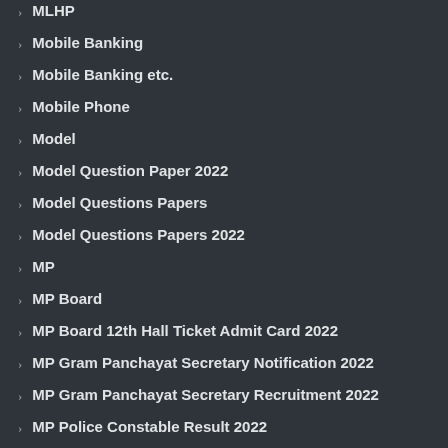MLHP
Mobile Banking
Mobile Banking etc.
Mobile Phone
Model
Model Question Paper 2022
Model Questions Papers
Model Questions Papers 2022
MP
MP Board
MP Board 12th Hall Ticket Admit Card 2022
MP Gram Panchayat Secretary Notification 2022
MP Gram Panchayat Secretary Recruitment 2022
MP Police Constable Result 2022